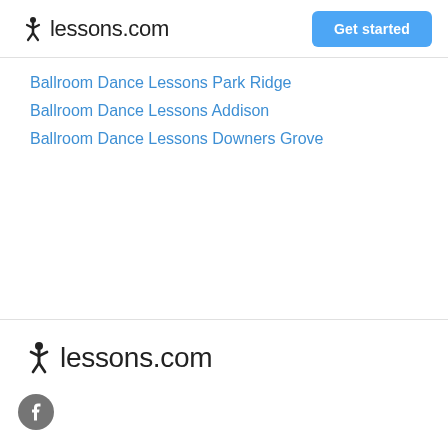lessons.com
Ballroom Dance Lessons Park Ridge
Ballroom Dance Lessons Addison
Ballroom Dance Lessons Downers Grove
[Figure (logo): lessons.com footer logo with stick figure icon]
[Figure (logo): Facebook circular icon]